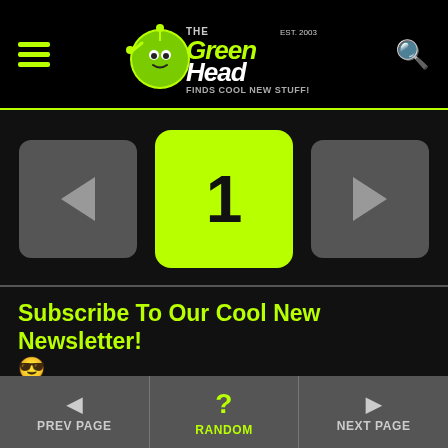[Figure (logo): The Green Head logo - green alien head mascot with text 'THE GREEN HEAD FINDS COOL NEW STUFF! EST. 2003' in white and green on black background]
[Figure (other): Pagination controls: left arrow button (gray), center page number button showing '1' (bright green/yellow), right arrow button (gray)]
Subscribe To Our Cool New Newsletter! 😎
Get all the latest cool new stuff, cool news, and more delivered to your inbox daily!
[Figure (other): Email signup form with 'Email Address' placeholder text and a bright green 'SIGN UP' button]
◄ PREV PAGE   ? RANDOM   ► NEXT PAGE